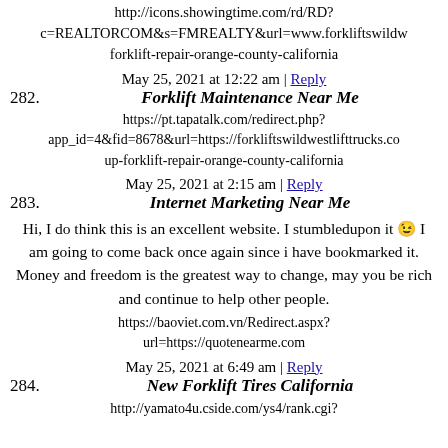http://icons.showingtime.com/rd/RD?c=REALTORCOM&s=FMREALTY&url=www.forkliftswildw forklift-repair-orange-county-california
May 25, 2021 at 12:22 am | Reply
282. Forklift Maintenance Near Me
https://pt.tapatalk.com/redirect.php?app_id=4&fid=8678&url=https://forkliftswildwestlifttrucks.co up-forklift-repair-orange-county-california
May 25, 2021 at 2:15 am | Reply
283. Internet Marketing Near Me
Hi, I do think this is an excellent website. I stumbledupon it 😉 I am going to come back once again since i have bookmarked it. Money and freedom is the greatest way to change, may you be rich and continue to help other people.
https://baoviet.com.vn/Redirect.aspx?url=https://quotenearme.com
May 25, 2021 at 6:49 am | Reply
284. New Forklift Tires California
http://yamato4u.cside.com/ys4/rank.cgi?